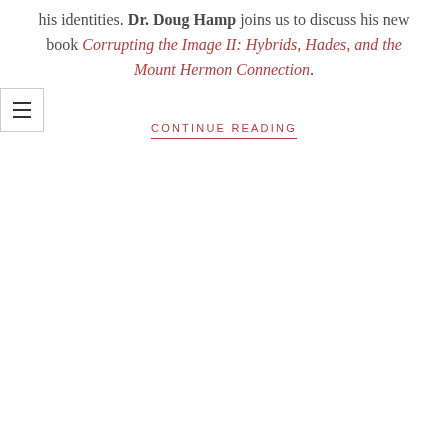his identities. Dr. Doug Hamp joins us to discuss his new book Corrupting the Image II: Hybrids, Hades, and the Mount Hermon Connection.
CONTINUE READING